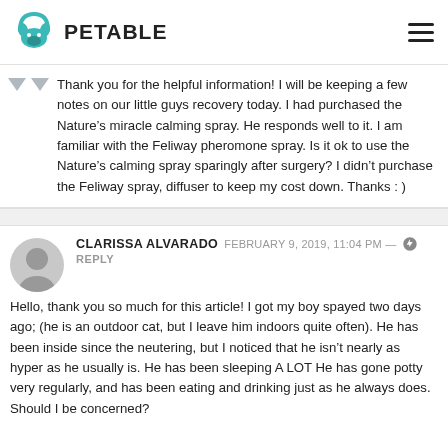PETABLE
Thank you for the helpful information! I will be keeping a few notes on our little guys recovery today. I had purchased the Nature’s miracle calming spray. He responds well to it. I am familiar with the Feliway pheromone spray. Is it ok to use the Nature’s calming spray sparingly after surgery? I didn’t purchase the Feliway spray, diffuser to keep my cost down. Thanks : )
CLARISSA ALVARADO   FEBRUARY 9, 2019, 11:04 PM —
REPLY
Hello, thank you so much for this article! I got my boy spayed two days ago; (he is an outdoor cat, but I leave him indoors quite often). He has been inside since the neutering, but I noticed that he isn’t nearly as hyper as he usually is. He has been sleeping A LOT He has gone potty very regularly, and has been eating and drinking just as he always does. Should I be concerned?